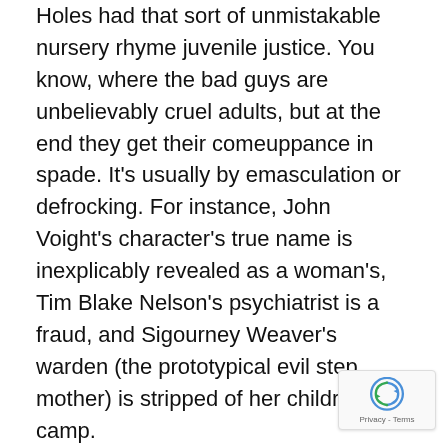Holes had that sort of unmistakable nursery rhyme juvenile justice. You know, where the bad guys are unbelievably cruel adults, but at the end they get their comeuppance in spade. It's usually by emasculation or defrocking. For instance, John Voight's character's true name is inexplicably revealed as a woman's, Tim Blake Nelson's psychiatrist is a fraud, and Sigourney Weaver's warden (the prototypical evil step mother) is stripped of her children's camp.
There is one rather dark subplot involving a female bank robber from the 1800s and her black lover. To be honest, that tangent felt forced. I didn't really understand what it had to do with our young Jewish protagonist, aside from the general theme of disaffection.
The psychiatrist especially bothered me. When we first meet him, he says to Stanley, "Though you have done things, you are not a bad kid." I got the impression that he